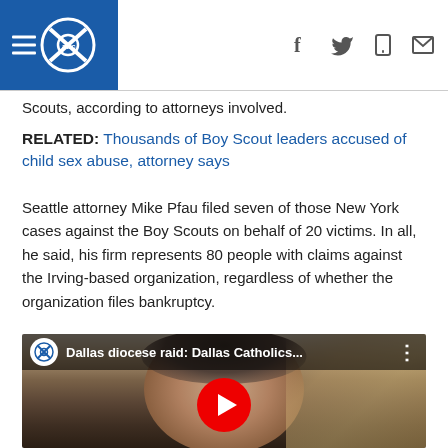KSAT ABC 8 news header with navigation icons
Scouts, according to attorneys involved.
RELATED: Thousands of Boy Scout leaders accused of child sex abuse, attorney says
Seattle attorney Mike Pfau filed seven of those New York cases against the Boy Scouts on behalf of 20 victims. In all, he said, his firm represents 80 people with claims against the Irving-based organization, regardless of whether the organization files bankruptcy.
[Figure (screenshot): Embedded video player showing a man's face with title 'Dallas diocese raid: Dallas Catholics...' and a YouTube-style play button overlay]